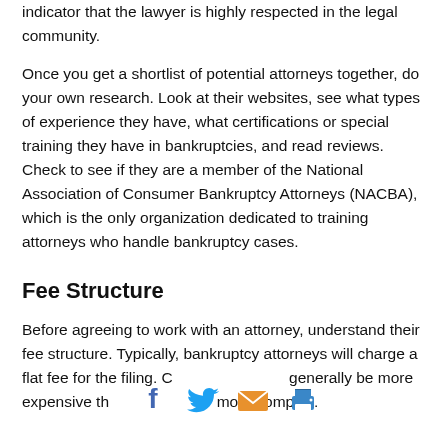indicator that the lawyer is highly respected in the legal community.
Once you get a shortlist of potential attorneys together, do your own research. Look at their websites, see what types of experience they have, what certifications or special training they have in bankruptcies, and read reviews. Check to see if they are a member of the National Association of Consumer Bankruptcy Attorneys (NACBA), which is the only organization dedicated to training attorneys who handle bankruptcy cases.
Fee Structure
Before agreeing to work with an attorney, understand their fee structure. Typically, bankruptcy attorneys will charge a flat fee for the filing. C generally be more expensive th more complex.
[Figure (other): Social sharing icons: Facebook (blue), Twitter (blue), Email (orange), Print (blue)]